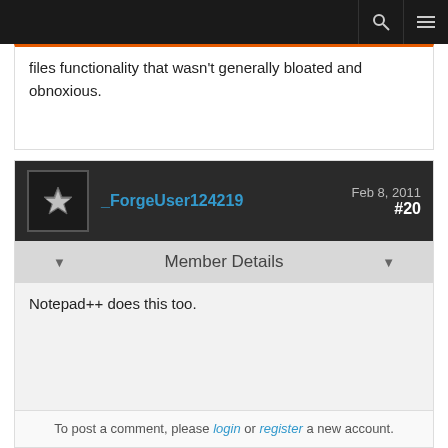files functionality that wasn't generally bloated and obnoxious.
_ForgeUser124219   Feb 8, 2011   #20
Member Details
Notepad++ does this too.
To post a comment, please login or register a new account.